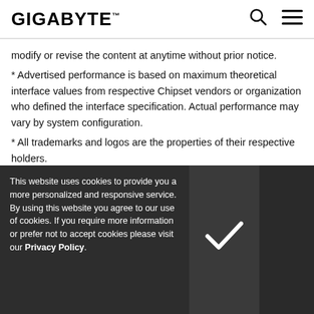GIGABYTE
modify or revise the content at anytime without prior notice.
* Advertised performance is based on maximum theoretical interface values from respective Chipset vendors or organization who defined the interface specification. Actual performance may vary by system configuration.
* All trademarks and logos are the properties of their respective holders.
* Due to standard PC architecture, a certain amount of memory is reserved for system usage and therefore the actual memory size is less than
[Figure (illustration): 3D Industry promotional banner showing an isometric building/facility graphic with '3D INDUSTRY >' label on a blue background strip]
This website uses cookies to provide you a more personalized and responsive service. By using this website you agree to our use of cookies. If you require more information or prefer not to accept cookies please visit our Privacy Policy.